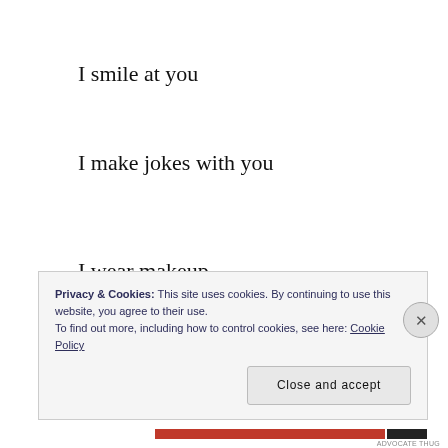I smile at you
I make jokes with you
I wear makeup
So the dark circles around my eyes
Privacy & Cookies: This site uses cookies. By continuing to use this website, you agree to their use.
To find out more, including how to control cookies, see here: Cookie Policy
ADVOCATE THUG